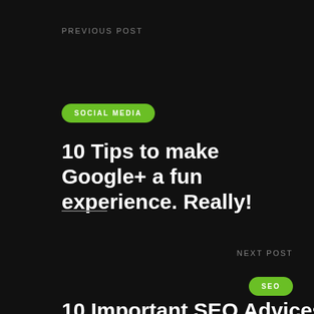PREVIOUS POST
SOCIAL MEDIA
10 Tips to make Google+ a fun experience. Really!
NEXT POST
SEO
10 Important SEO Advices on